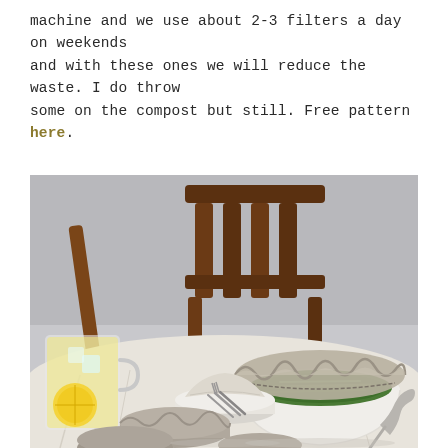machine and we use about 2-3 filters a day on weekends and with these ones we will reduce the waste. I do throw some on the compost but still. Free pattern here.
[Figure (photo): A dining table scene with linen/fabric bowl covers draped over a white bowl containing green vegetables, smaller fabric-covered dishes, stacked plates with silverware, and a glass of iced lemon drink. A wooden chair is visible in the background.]